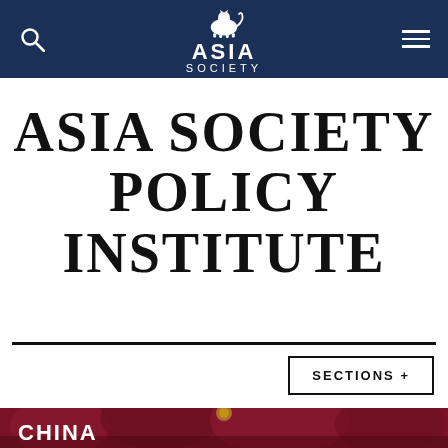ASIA SOCIETY
ASIA SOCIETY POLICY INSTITUTE
SECTIONS +
[Figure (photo): A crowd of people holding dark red umbrellas with the Chinese national emblem (gold on red background) visible on a building in the background. 'CHINA' text overlay in white bold letters at bottom left.]